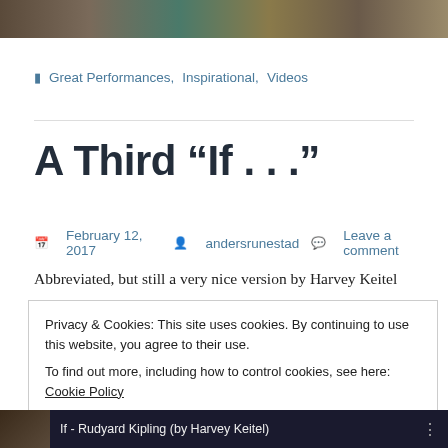[Figure (photo): Partial image at top of page, cropped view of an outdoor or indoor scene]
Great Performances, Inspirational, Videos
A Third “If . . .”
February 12, 2017  andersrunestad  Leave a comment
Abbreviated, but still a very nice version by Harvey Keitel
Privacy & Cookies: This site uses cookies. By continuing to use this website, you agree to their use.
To find out more, including how to control cookies, see here: Cookie Policy
Close and accept
[Figure (screenshot): Bottom bar showing video thumbnail with text: If - Rudyard Kipling (by Harvey Keitel)]